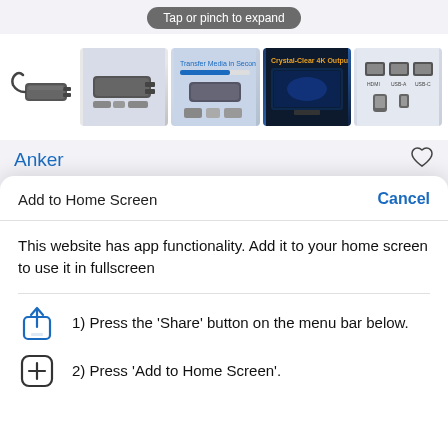Tap or pinch to expand
[Figure (screenshot): Product images of an Anker USB-C hub: main product photo on left, plus 4 thumbnail images showing the hub from different angles and feature highlights (Transfer Media in Seconds, Crystal-Clear 4K Output).]
Anker
Add to Home Screen
Cancel
This website has app functionality. Add it to your home screen to use it in fullscreen
1) Press the 'Share' button on the menu bar below.
2) Press 'Add to Home Screen'.